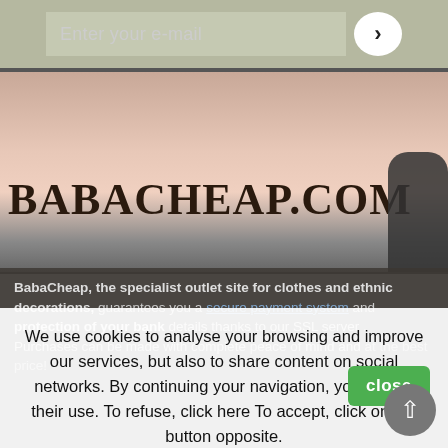[Figure (screenshot): Email input field with arrow button on a muted green-grey background]
[Figure (screenshot): BabaCheap.com website banner with logo text on pink-orange sky gradient background with dark silhouette]
BabaCheap, the specialist outlet site for clothes and ethnic decorations, guarantees you a secure payment system and protection of your bank details thanks to our SSL server . Purchases can be made with complete peace of mind and at the best price!
We use cookies to analyse your browsing and improve our services, but also to share content on social networks. By continuing your navigation, you accept their use. To refuse, click here To accept, click on the button opposite.